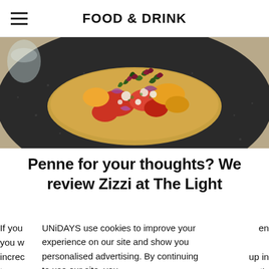FOOD & DRINK
[Figure (photo): Close-up photo of a gourmet dish on a dark speckled plate — colourful toppings including tomatoes, microgreens, red onion, and crumbled white cheese on what appears to be bruschetta or flatbread.]
Penne for your thoughts? We review Zizzi at The Light
If you en you w you w increc up in town et's
UNiDAYS use cookies to improve your experience on our site and show you personalised advertising. By continuing to use our site, you